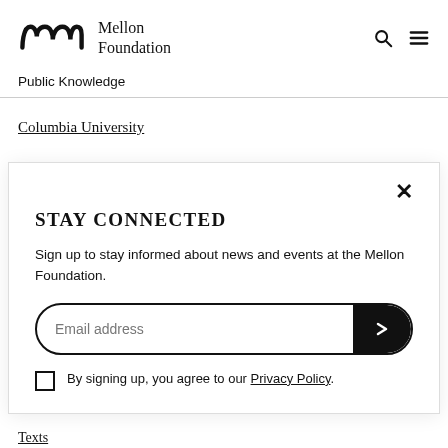Mellon Foundation
Public Knowledge
Columbia University
STAY CONNECTED
Sign up to stay informed about news and events at the Mellon Foundation.
Email address
By signing up, you agree to our Privacy Policy.
Texts